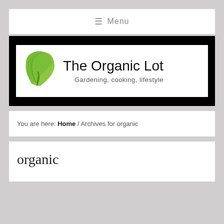≡ Menu
[Figure (logo): The Organic Lot logo — a green leaf icon on the left, with text 'The Organic Lot' in large handwritten font and subtitle 'Gardening, cooking, lifestyle' on a white background with black border]
You are here: Home / Archives for organic
organic